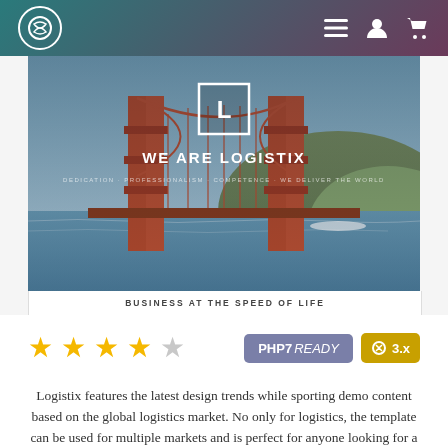Navigation bar with logo, menu, user, and cart icons
[Figure (screenshot): Hero image of Golden Gate Bridge with overlay showing 'WE ARE LOGISTIX' and Logistix logo box. Below hero is a white panel with text 'BUSINESS AT THE SPEED OF LIFE'.]
[Figure (infographic): 4 filled gold stars and 1 grey star (rating), PHP7 READY badge (blue-grey), Joomla 3.x badge (gold/yellow)]
Logistix features the latest design trends while sporting demo content based on the global logistics market. No only for logistics, the template can be used for multiple markets and is perfect for anyone looking for a professional business look.